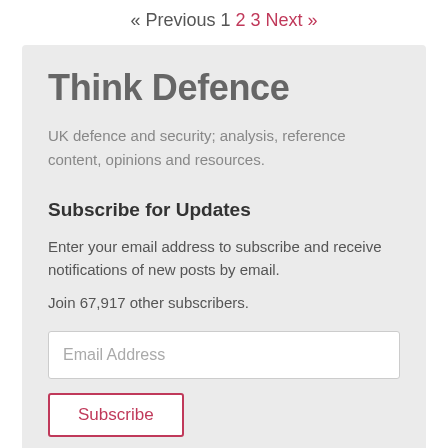« Previous 1 2 3 Next »
Think Defence
UK defence and security; analysis, reference content, opinions and resources.
Subscribe for Updates
Enter your email address to subscribe and receive notifications of new posts by email.
Join 67,917 other subscribers.
Email Address
Subscribe